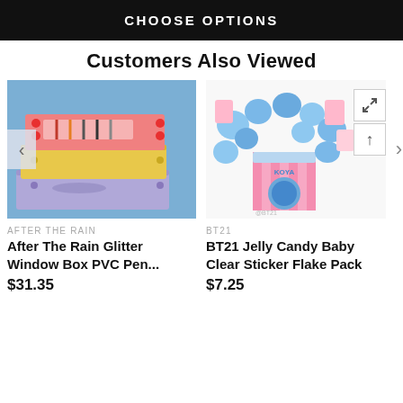CHOOSE OPTIONS
Customers Also Viewed
[Figure (photo): Stacked colorful pen boxes (pink, yellow, purple) on blue background - After The Rain Glitter Window Box PVC Pens]
AFTER THE RAIN
After The Rain Glitter Window Box PVC Pen...
$31.35
[Figure (photo): BT21 Jelly Candy Baby Clear Sticker Flake Pack - stickers scattered around pink candy bag packaging]
BT21
BT21 Jelly Candy Baby Clear Sticker Flake Pack
$7.25